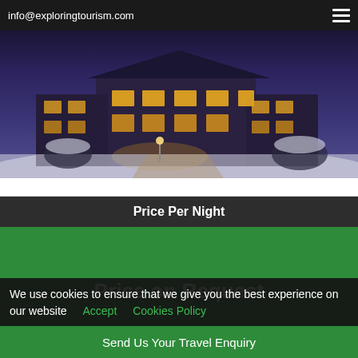info@exploringtourism.com
[Figure (photo): Nighttime exterior photo of a hotel or lodge in snowy winter conditions, with warm glowing windows and snow-covered grounds and landscaping.]
Price Per Night
Price on Request
We use cookies to ensure that we give you the best experience on our website  Accept    Cookies Policy
Send Us Your Travel Enquiry